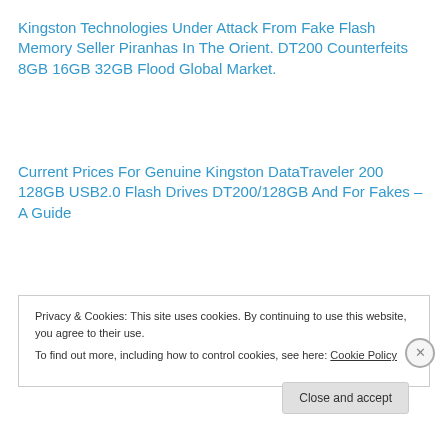Kingston Technologies Under Attack From Fake Flash Memory Seller Piranhas In The Orient. DT200 Counterfeits 8GB 16GB 32GB Flood Global Market.
Current Prices For Genuine Kingston DataTraveler 200 128GB USB2.0 Flash Drives DT200/128GB And For Fakes – A Guide
Privacy & Cookies: This site uses cookies. By continuing to use this website, you agree to their use.
To find out more, including how to control cookies, see here: Cookie Policy